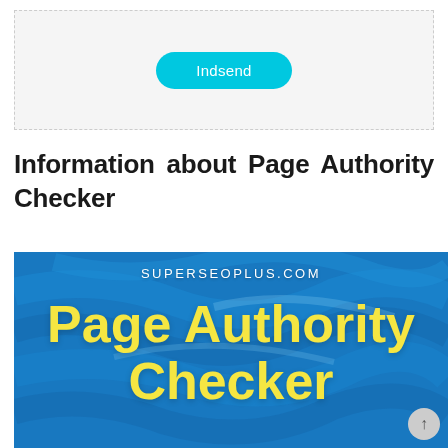[Figure (screenshot): A form section with a light gray dashed border containing a cyan/teal rounded submit button labeled 'Indsend']
Information about Page Authority Checker
[Figure (illustration): A banner image with blue textured background. Top text reads 'SUPERSEOPLUS.COM' in white. Large yellow bold text reads 'Page Authority Checker' across the image.]